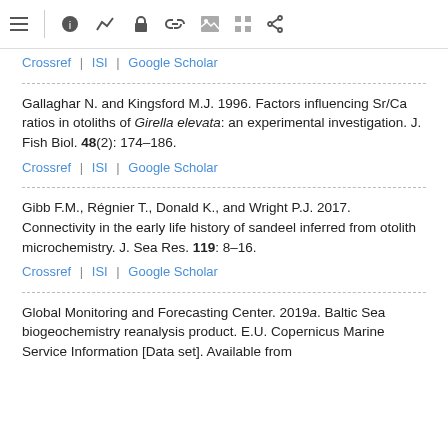[Figure (screenshot): Browser toolbar with icons: hamburger menu, info circle, trend line, lock, link, image, grid, share]
Crossref | ISI | Google Scholar
Gallaghar N. and Kingsford M.J. 1996. Factors influencing Sr/Ca ratios in otoliths of Girella elevata: an experimental investigation. J. Fish Biol. 48(2): 174–186.
Crossref | ISI | Google Scholar
Gibb F.M., Régnier T., Donald K., and Wright P.J. 2017. Connectivity in the early life history of sandeel inferred from otolith microchemistry. J. Sea Res. 119: 8–16.
Crossref | ISI | Google Scholar
Global Monitoring and Forecasting Center. 2019a. Baltic Sea biogeochemistry reanalysis product. E.U. Copernicus Marine Service Information [Data set]. Available from